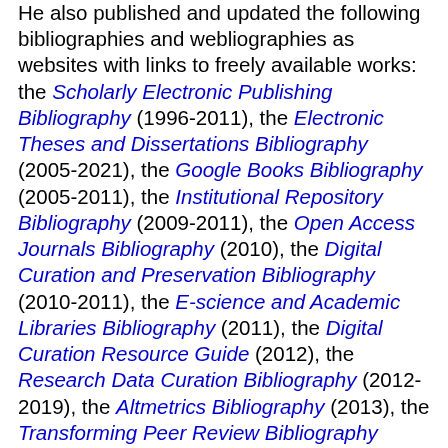He also published and updated the following bibliographies and webliographies as websites with links to freely available works: the Scholarly Electronic Publishing Bibliography (1996-2011), the Electronic Theses and Dissertations Bibliography (2005-2021), the Google Books Bibliography (2005-2011), the Institutional Repository Bibliography (2009-2011), the Open Access Journals Bibliography (2010), the Digital Curation and Preservation Bibliography (2010-2011), the E-science and Academic Libraries Bibliography (2011), the Digital Curation Resource Guide (2012), the Research Data Curation Bibliography (2012-2019), the Altmetrics Bibliography (2013), the Transforming Peer Review Bibliography (2014), the Academic Library as Scholarly Publisher Bibliography (2018-2021), and the Research Data Sharing